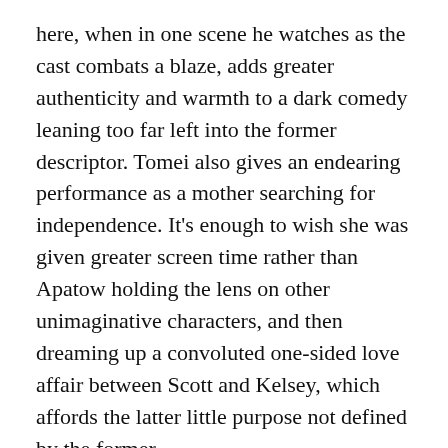here, when in one scene he watches as the cast combats a blaze, adds greater authenticity and warmth to a dark comedy leaning too far left into the former descriptor. Tomei also gives an endearing performance as a mother searching for independence. It's enough to wish she was given greater screen time rather than Apatow holding the lens on other unimaginative characters, and then dreaming up a convoluted one-sided love affair between Scott and Kelsey, which affords the latter little purpose not defined by the former.
Moreover, the director enlists Robert Elswit (There Will Be Blood; Michael Clayton; Good Night, and Good Luck) as cinematographer. His subtle use of color; shade; and texture encapsulates Scott's downturn mood—even when he eventually opens himself